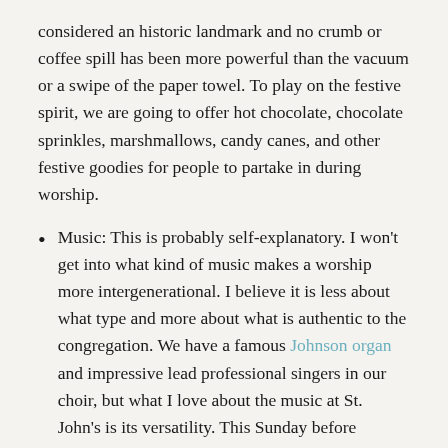considered an historic landmark and no crumb or coffee spill has been more powerful than the vacuum or a swipe of the paper towel. To play on the festive spirit, we are going to offer hot chocolate, chocolate sprinkles, marshmallows, candy canes, and other festive goodies for people to partake in during worship.
Music: This is probably self-explanatory. I won't get into what kind of music makes a worship more intergenerational. I believe it is less about what type and more about what is authentic to the congregation. We have a famous Johnson organ and impressive lead professional singers in our choir, but what I love about the music at St. John's is its versatility. This Sunday before